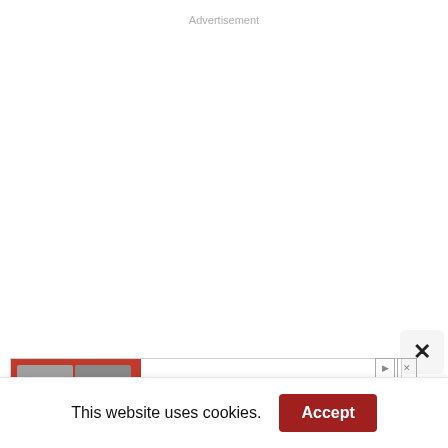Advertisement
[Figure (screenshot): Partially visible advertisement banner with two people thumbnails and the word 'Team', along with play and close icons]
This website uses cookies.
Accept